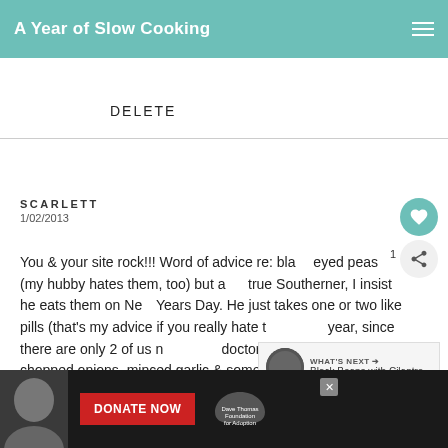A Year of Slow Cooking
DELETE
SCARLETT
1/02/2013
You & your site rock!!! Word of advice re: black eyed peas (my hubby hates them, too) but as a true Southerner, I insist he eats them on New Years Day. He just takes one or two like pills (that's my advice if you really hate them) this year, since there are only 2 of us now, I just doctored up a can. Sautéed chopped onions, minced garlic & some sliced Kielbasa (hey, it's...